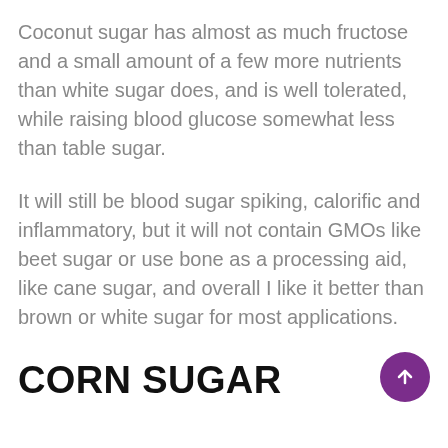Coconut sugar has almost as much fructose and a small amount of a few more nutrients than white sugar does, and is well tolerated, while raising blood glucose somewhat less than table sugar.
It will still be blood sugar spiking, calorific and inflammatory, but it will not contain GMOs like beet sugar or use bone as a processing aid, like cane sugar, and overall I like it better than brown or white sugar for most applications.
CORN SUGAR